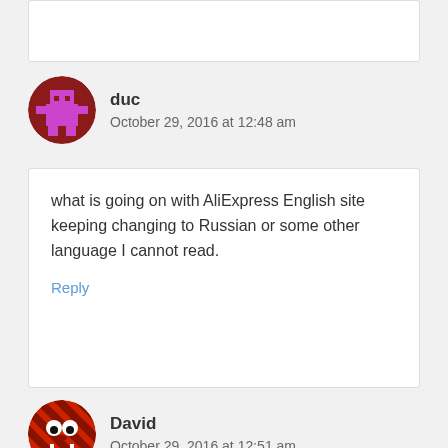duc
October 29, 2016 at 12:48 am
what is going on with AliExpress English site keeping changing to Russian or some other language I cannot read.
Reply
David
October 29, 2016 at 12:51 am